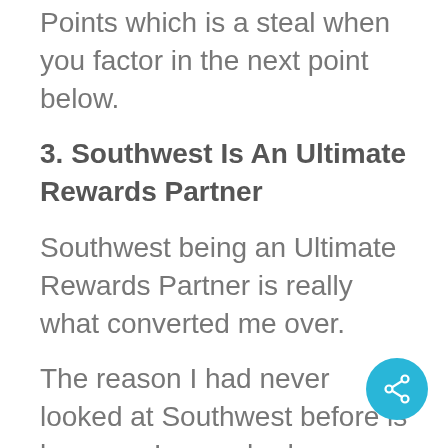Points which is a steal when you factor in the next point below.
3. Southwest Is An Ultimate Rewards Partner
Southwest being an Ultimate Rewards Partner is really what converted me over.
The reason I had never looked at Southwest before is because I never had any Points with them.
However once I realized that Southwest was an Ultimate